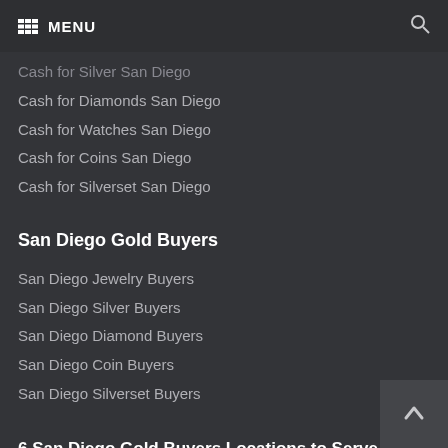MENU
Cash for Silver San Diego
Cash for Diamonds San Diego
Cash for Watches San Diego
Cash for Coins San Diego
Cash for Silverset San Diego
San Diego Gold Buyers
San Diego Jewelry Buyers
San Diego Silver Buyers
San Diego Diamond Buyers
San Diego Coin Buyers
San Diego Silverset Buyers
6 San Diego Gold Buyers Locations to Serve You:
Gold Buyers La Jolla (on Girard Ave.)
Gold Buyers La Mesa (on El Cajon Blvd.)